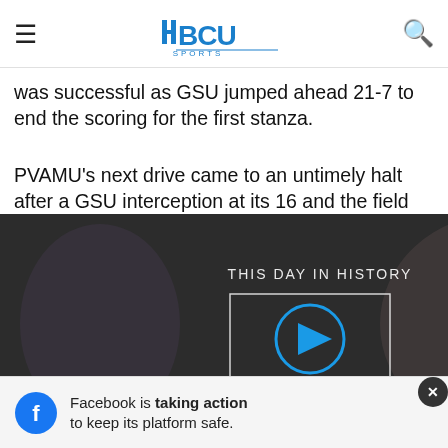HBCU SPORTS
was successful as GSU jumped ahead 21-7 to end the scoring for the first stanza.
PVAMU's next drive came to an untimely halt after a GSU interception at its 16 and the field goal unit failed to convert a 52-yard field goal on the ensuing drive after receiving the [video overlay] quarter. Grambling [video overlay] with an 8-play, 65- [video overlay] ester Rogers for a 51- [video overlay] n the half.
[Figure (screenshot): Embedded video player with 'THIS DAY IN HISTORY' and 'SEPTEMBER' labels, play button, mute button, and progress bar overlay]
Down 28-7, the Panther offense rolled up its sleeves and went to work as they marched down the field in 11 plays to draw within [ad overlay] ushed in from [ad overlay] that
[Figure (screenshot): Facebook advertisement banner: 'Facebook is taking action to keep its platform safe.' with Facebook logo and close button]